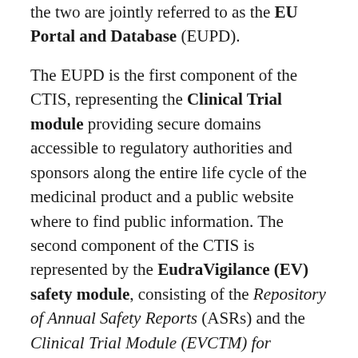the two are jointly referred to as the EU Portal and Database (EUPD). The EUPD is the first component of the CTIS, representing the Clinical Trial module providing secure domains accessible to regulatory authorities and sponsors along the entire life cycle of the medicinal product and a public website where to find public information. The second component of the CTIS is represented by the EudraVigilance (EV) safety module, consisting of the Repository of Annual Safety Reports (ASRs) and the Clinical Trial Module (EVCTM) for Individual Case Safety Reports (ICSRs) of suspected unexpected